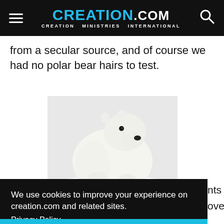CREATION.com — CREATION MINISTRIES INTERNATIONAL
from a secular source, and of course we had no polar bear hairs to test.
[Figure (photo): Close-up photograph of a polar bear facing forward, white fur visible against a light background.]
nts out
over in
We use cookies to improve your experience on creation.com and related sites. Privacy Policy
Understood
myth.